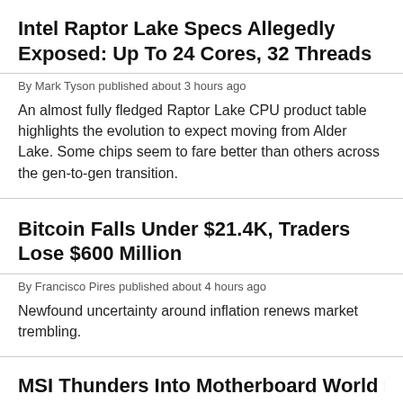Intel Raptor Lake Specs Allegedly Exposed: Up To 24 Cores, 32 Threads
By Mark Tyson published about 3 hours ago
An almost fully fledged Raptor Lake CPU product table highlights the evolution to expect moving from Alder Lake. Some chips seem to fare better than others across the gen-to-gen transition.
Bitcoin Falls Under $21.4K, Traders Lose $600 Million
By Francisco Pires published about 4 hours ago
Newfound uncertainty around inflation renews market trembling.
MSI Thunders Into Motherboard World D…